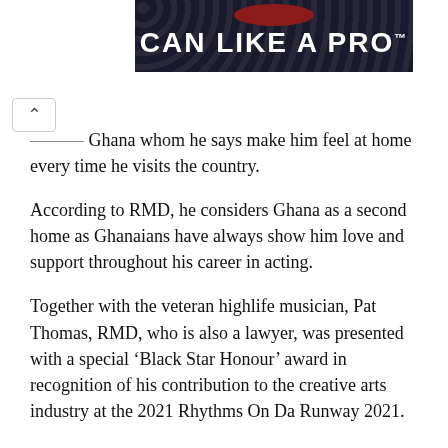[Figure (photo): Banner advertisement with dark background showing beer cans, red oval logo at top, white bold text reading 'CAN LIKE A PRO' with trademark symbol]
...in Ghana whom he says make him feel at home every time he visits the country.
According to RMD, he considers Ghana as a second home as Ghanaians have always show him love and support throughout his career in acting.
Together with the veteran highlife musician, Pat Thomas, RMD, who is also a lawyer, was presented with a special ‘Black Star Honour’ award in recognition of his contribution to the creative arts industry at the 2021 Rhythms On Da Runway 2021.
According to the organizers, Nineteen57 Events, the award is intended to celebrate excellence and significant contributions to the promotion of show industry in Ghana and Africa.
The 2021 edition of Rhythms On Da Runway was held at the